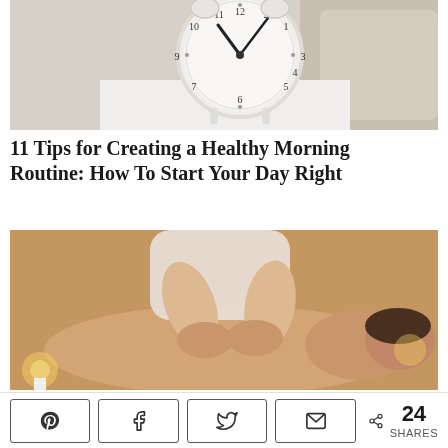[Figure (photo): Alarm clock on a white bedside table with bedding in the background]
11 Tips for Creating a Healthy Morning Routine: How To Start Your Day Right
[Figure (photo): A person receiving a back massage from a massage therapist in a warm candlelit setting]
24 SHARES — Pinterest, Facebook, Twitter, Email share buttons